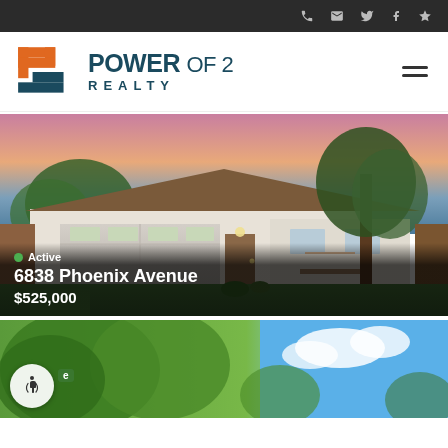Top navigation bar with phone, email, Twitter, Facebook, Yelp icons
[Figure (logo): Power of 2 Realty logo with orange P-shaped icon and dark teal text]
[Figure (photo): Exterior photo of a single-story ranch home with two-car garage, green lawn, large tree, taken at dusk with pink/purple sky]
Active
6838 Phoenix Avenue
$525,000
[Figure (photo): Partial view of a second property listing showing green trees and blue sky]